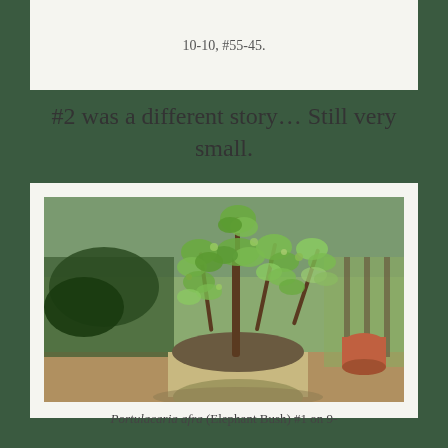10-10, #55-45.
#2 was a different story… Still very small.
[Figure (photo): A Portulacaria afra (Elephant Bush) plant in a large green/beige ceramic pot, showing multiple upright branches with small green leaves, set in an outdoor garden with other plants and a fence in the background.]
Portulacaria afra (Elephant Bush) #1 on 9-